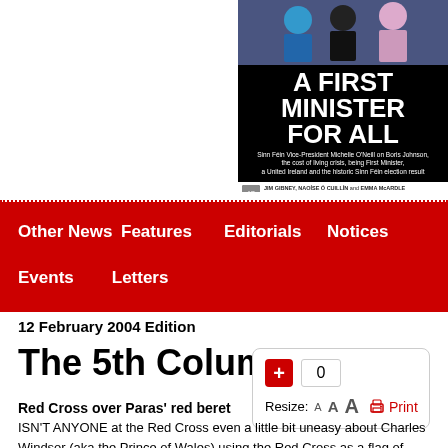[Figure (photo): Magazine cover for An Phoblacht showing three people at top, with large white text on black background reading 'A FIRST MINISTER FOR ALL', subtitle about Sinn Féin Vice-President Michelle O'Neill on Boris Johnson, cost of living crisis, being First Minister, a United Ireland and the historic Sinn Féin election result. Footer credits Jim Gibney, Naoíse Ó Cuillín and Emma McArdle reflecting on a momentous election.]
Other News  Features  Editorials  Notices  Events  Letters
12 February 2004 Edition
The 5th Column
Red Cross over Paras' red beret
ISN'T ANYONE at the Red Cross even a little bit uneasy about Charles Windsor (aka the Prince of Wales) using the Red Cross as a flag of convenience in the Middle East at the same time as he's banging the war drum while visiting demoralised British occupation troops in Iraq